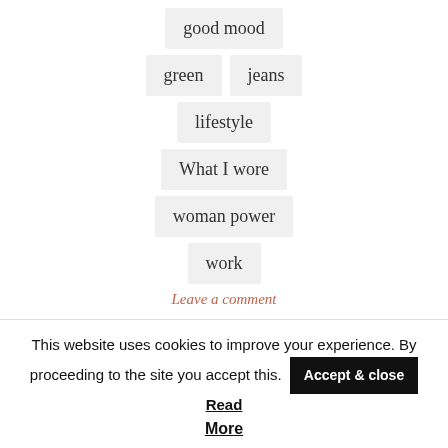good mood
green
jeans
lifestyle
What I wore
woman power
work
Leave a comment
This website uses cookies to improve your experience. By proceeding to the site you accept this. Accept & close Read More